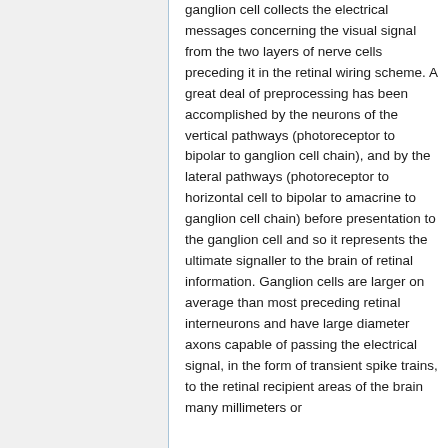ganglion cell collects the electrical messages concerning the visual signal from the two layers of nerve cells preceding it in the retinal wiring scheme. A great deal of preprocessing has been accomplished by the neurons of the vertical pathways (photoreceptor to bipolar to ganglion cell chain), and by the lateral pathways (photoreceptor to horizontal cell to bipolar to amacrine to ganglion cell chain) before presentation to the ganglion cell and so it represents the ultimate signaller to the brain of retinal information. Ganglion cells are larger on average than most preceding retinal interneurons and have large diameter axons capable of passing the electrical signal, in the form of transient spike trains, to the retinal recipient areas of the brain many millimeters or